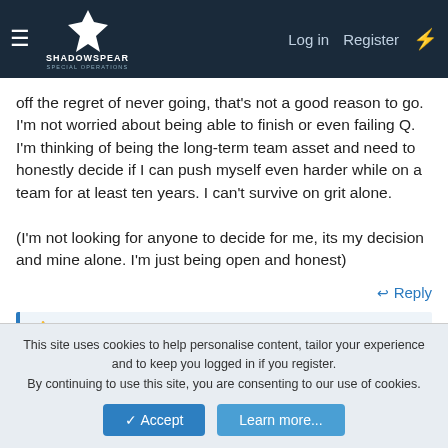ShadowSpear Special Operations — Log in | Register
off the regret of never going, that's not a good reason to go. I'm not worried about being able to finish or even failing Q. I'm thinking of being the long-term team asset and need to honestly decide if I can push myself even harder while on a team for at least ten years. I can't survive on grit alone.

(I'm not looking for anyone to decide for me, its my decision and mine alone. I'm just being open and honest)
Reply
Lefty375 and 0699
Kaldak
This site uses cookies to help personalise content, tailor your experience and to keep you logged in if you register.
By continuing to use this site, you are consenting to our use of cookies.